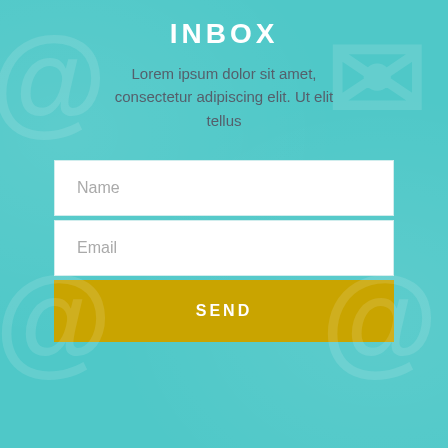INBOX
Lorem ipsum dolor sit amet, consectetur adipiscing elit. Ut elit tellus
Name
Email
SEND